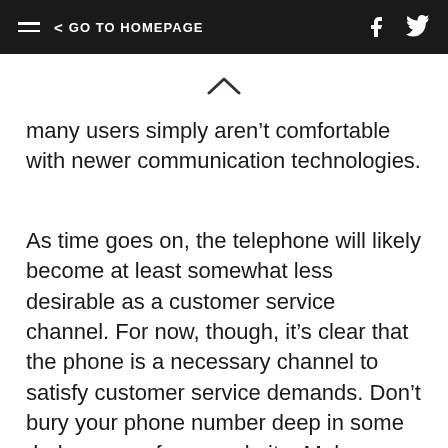≡  < GO TO HOMEPAGE   [facebook] [twitter]
[Figure (other): Upward chevron caret icon indicating scroll up or collapse]
many users simply aren't comfortable with newer communication technologies.
As time goes on, the telephone will likely become at least somewhat less desirable as a customer service channel. For now, though, it's clear that the phone is a necessary channel to satisfy customer service demands. Don't bury your phone number deep in some dark corner of your website. Make sure that the customers who need to reach you by phone can do so without issue.